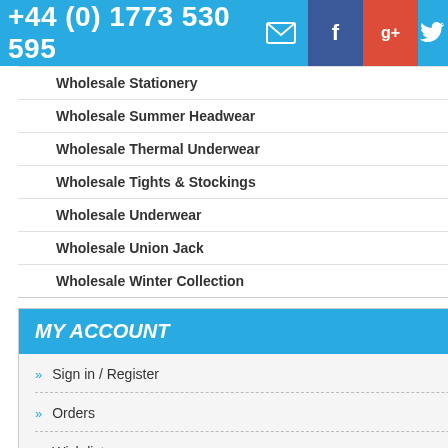+44 (0) 1773 530 595
Wholesale Stationery
Wholesale Summer Headwear
Wholesale Thermal Underwear
Wholesale Tights & Stockings
Wholesale Underwear
Wholesale Union Jack
Wholesale Winter Collection
MY ACCOUNT
Sign in / Register
Orders
Wish list
Track my order(s):
[Figure (photo): Men's Diabetic Gentle Grip Non Binding HoneyComb socks product image]
Men's Diabetic Gentle Grip Non Binding Hon...
Our Price
[Figure (photo): Men's Gentle Grip No binding HoneyComb socks product image]
Men's Gentle Grip No... HoneyComb L...
Our Price